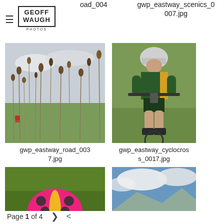≡  GEOFF WAUGH PHOTOS
oad_004
gwp_eastway_scenics_0007.jpg
[Figure (photo): Dried teasel plants in field with cyclists in background]
gwp_eastway_road_0037.jpg
[Figure (photo): Cyclist in green and yellow jersey racing on bicycle, front view]
gwp_eastway_cyclocross_0017.jpg
[Figure (photo): Partial view of ladybird/ladybug on green background]
[Figure (photo): Partial view of sky with clouds and mountain/landscape]
Page 1 of 4  >  <